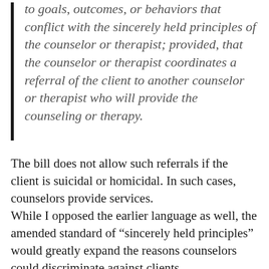to goals, outcomes, or behaviors that conflict with the sincerely held principles of the counselor or therapist; provided, that the counselor or therapist coordinates a referral of the client to another counselor or therapist who will provide the counseling or therapy.
The bill does not allow such referrals if the client is suicidal or homicidal. In such cases, counselors provide services. While I opposed the earlier language as well, the amended standard of “sincerely held principles” would greatly expand the reasons counselors could discriminate against clients.